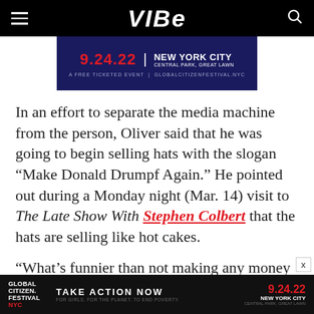VIBE
[Figure (infographic): Advertisement banner for Global Citizen Festival: 9.24.22 | NEW YORK CITY CENTRAL PARK, GREAT LAWN | A FREE TICKETED EVENT | GLOBALCITIZENFESTIVAL.NYC]
In an effort to separate the media machine from the person, Oliver said that he was going to begin selling hats with the slogan “Make Donald Drumpf Again.” He pointed out during a Monday night (Mar. 14) visit to The Late Show With Stephen Colbert that the hats are selling like hot cakes.
“What’s funnier than not making any money on an unexpected inexplicable hit?” he told the host of th
[Figure (infographic): Bottom advertisement: Global Citizen Festival NYC | TAKE ACTION NOW FOR GIRLS. FOR THE PLANET. TO END POVERTY. | 9.24.22 NEW YORK CITY CENTRAL PARK, GREAT LAWN]